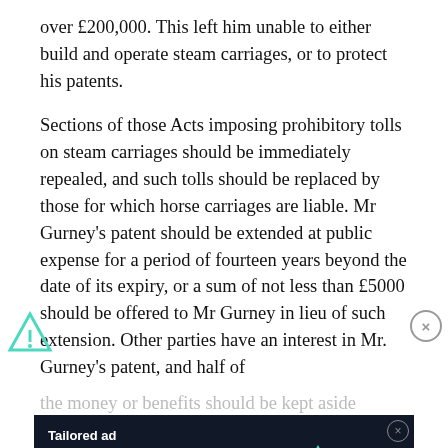over £200,000. This left him unable to either build and operate steam carriages, or to protect his patents.
Sections of those Acts imposing prohibitory tolls on steam carriages should be immediately repealed, and such tolls should be replaced by those for which horse carriages are liable. Mr Gurney's patent should be extended at public expense for a period of fourteen years beyond the date of its expiry, or a sum of not less than £5000 should be offered to Mr Gurney in lieu of such extension. Other parties have an interest in Mr. Gurney's patent, and half of the money or benefits should be kept aside
[Figure (other): Advertisement banner for Freestar tailored ad management solutions for every publisher, with dark background, teal logo and Learn More button]
Lyman Horace Weeks comments in his